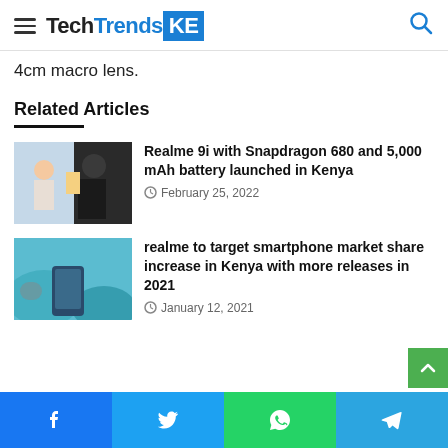TechTrendsKE
4cm macro lens.
Related Articles
[Figure (photo): Photo of two people at a Realme event]
Realme 9i with Snapdragon 680 and 5,000 mAh battery launched in Kenya
February 25, 2022
[Figure (photo): Product photo of a realme smartphone with blue background]
realme to target smartphone market share increase in Kenya with more releases in 2021
January 12, 2021